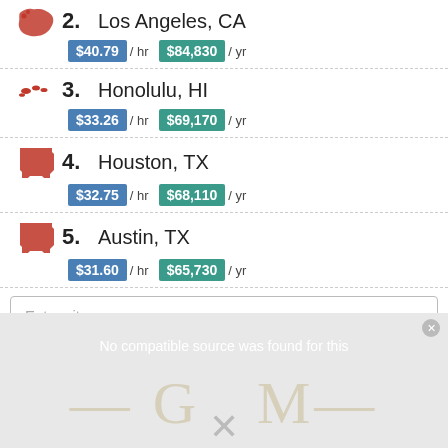2. Los Angeles, CA — $40.79 / hr   $84,830 / yr
3. Honolulu, HI — $33.26 / hr   $69,170 / yr
4. Houston, TX — $32.75 / hr   $68,110 / yr
5. Austin, TX — $31.60 / hr   $65,730 / yr
Enter city
Data provided by the Bureau of Labor Statistics (BLS).
[Figure (screenshot): Video placeholder with text: No compatible source was found for this, partially visible golden text and X mark below]